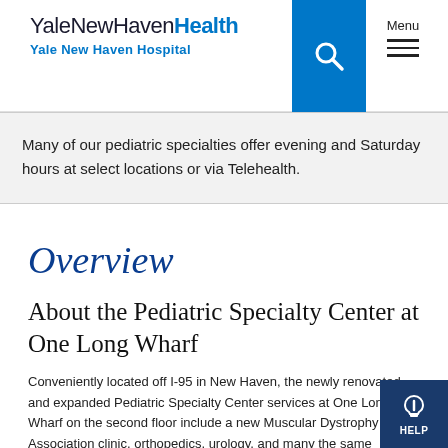YaleNewHavenHealth Yale New Haven Hospital
Many of our pediatric specialties offer evening and Saturday hours at select locations or via Telehealth.
Overview
About the Pediatric Specialty Center at One Long Wharf
Conveniently located off I-95 in New Haven, the newly renovated and expanded Pediatric Specialty Center services at One Long Wharf on the second floor include a new Muscular Dystrophy Association clinic, orthopedics, urology, and many the same outpatient services at the Pediatric Specialty Center at